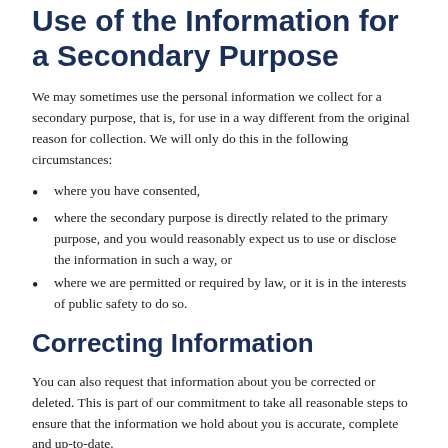Use of the Information for a Secondary Purpose
We may sometimes use the personal information we collect for a secondary purpose, that is, for use in a way different from the original reason for collection. We will only do this in the following circumstances:
where you have consented,
where the secondary purpose is directly related to the primary purpose, and you would reasonably expect us to use or disclose the information in such a way, or
where we are permitted or required by law, or it is in the interests of public safety to do so.
Correcting Information
You can also request that information about you be corrected or deleted. This is part of our commitment to take all reasonable steps to ensure that the information we hold about you is accurate, complete and up-to-date.